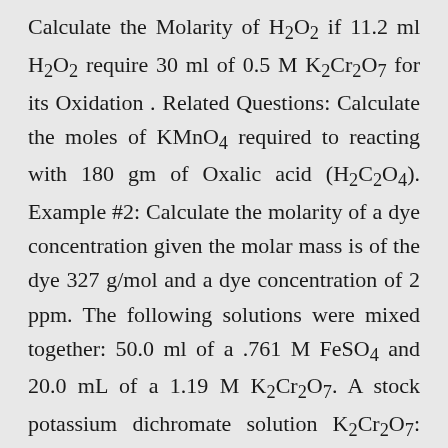Calculate the Molarity of H2O2 if 11.2 ml H2O2 require 30 ml of 0.5 M K2Cr2O7 for its Oxidation . Related Questions: Calculate the moles of KMnO4 required to reacting with 180 gm of Oxalic acid (H2C2O4). Example #2: Calculate the molarity of a dye concentration given the molar mass is of the dye 327 g/mol and a dye concentration of 2 ppm. The following solutions were mixed together: 50.0 ml of a .761 M FeSO4 and 20.0 mL of a 1.19 M K2Cr2O7. A stock potassium dichromate solution K2Cr2O7: molar mass is 294.2 g/mol) is prepared for dilution by dissolving 25.0 grams of K2Cr2O7 in a 500.0 ml volumetric flask. We use the most common isotopes. b.) The specific gravity of the solution is 1.438. The percentage